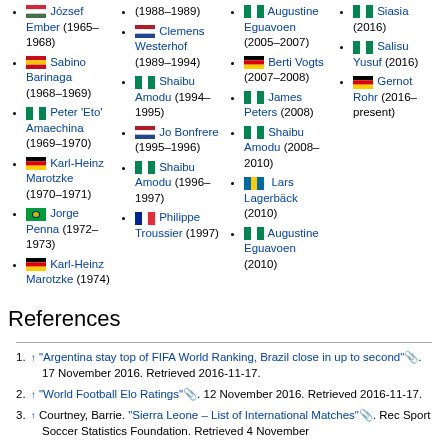József Ember (1965–1968)
Sabino Barinaga (1968–1969)
Peter 'Eto' Amaechina (1969–1970)
Karl-Heinz Marotzke (1970–1971)
Jorge Penna (1972–1973)
Karl-Heinz Marotzke (1974)
(1988–1989)
Clemens Westerhof (1989–1994)
Shaibu Amodu (1994–1995)
Jo Bonfrere (1995–1996)
Shaibu Amodu (1996–1997)
Philippe Troussier (1997)
Augustine Eguavoen (2005–2007)
Berti Vogts (2007–2008)
James Peters (2008)
Shaibu Amodu (2008–2010)
Lars Lagerbäck (2010)
Augustine Eguavoen (2010)
Siasia (2016)
Salisu Yusuf (2016)
Gernot Rohr (2016–present)
References
↑ "Argentina stay top of FIFA World Ranking, Brazil close in up to second". 17 November 2016. Retrieved 2016-11-17.
↑ "World Football Elo Ratings". 12 November 2016. Retrieved 2016-11-17.
↑ Courtney, Barrie. "Sierra Leone – List of International Matches". Rec Sport Soccer Statistics Foundation. Retrieved 4 November